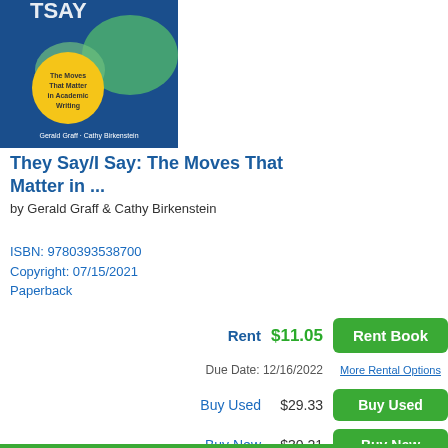[Figure (illustration): Book cover for 'They Say/I Say: The Moves That Matter in Academic Writing' by Gerald Graff and Cathy Birkenstein. Blue background with speech bubble graphics and a yellow circle containing text 'The Moves That Matter in Academic Writing'. Author names at bottom.]
They Say/I Say: The Moves That Matter in ...
by Gerald Graff & Cathy Birkenstein
ISBN: 9780393538700
Copyright: 07/15/2021
Paperback
| Option | Price | Action |
| --- | --- | --- |
| Rent | $11.05 | Rent Book |
| Due Date: 12/16/2022 |  | More Rental Options |
| Buy Used | $29.33 | Buy Used |
| Buy New | $30.21 | Buy New |
| Buy eBook | $16.50 | Buy eBook |